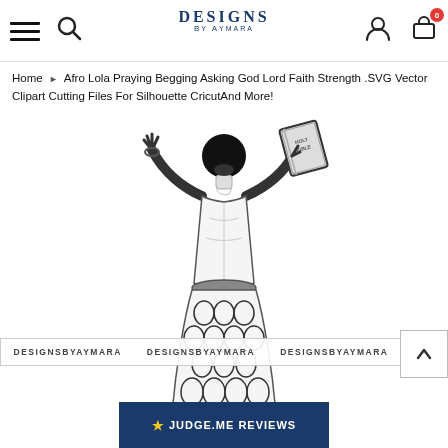Designs By Aymara – navigation bar with hamburger menu, search, logo, user icon, cart (0)
Home ▶ Afro Lola Praying Begging Asking God Lord Faith Strength .SVG Vector Clipart Cutting Files For Silhouette CricutAnd More!
[Figure (illustration): Black and white line art illustration of a woman with natural afro hair seen from behind, arms raised up, holding a Holy Bible in her right hand, wearing a patterned skirt. Watermark text DESIGNSBYAYMARA repeated across the lower portion.]
★ JUDGE.ME REVIEWS